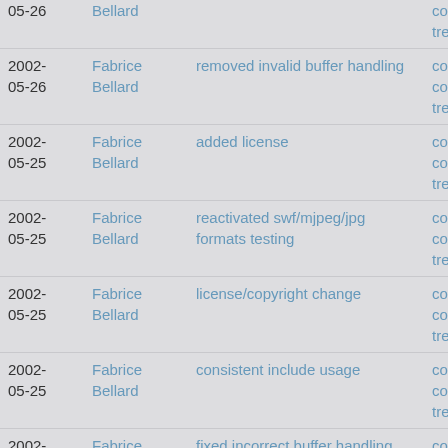| Date | Author | Message | Links |
| --- | --- | --- | --- |
| 2002-05-26 | Fabrice Bellard |  | commitdiff | tree |
| 2002-05-26 | Fabrice Bellard | removed invalid buffer handling | commit | commitdiff | tree |
| 2002-05-25 | Fabrice Bellard | added license | commit | commitdiff | tree |
| 2002-05-25 | Fabrice Bellard | reactivated swf/mjpeg/jpg formats testing | commit | commitdiff | tree |
| 2002-05-25 | Fabrice Bellard | license/copyright change | commit | commitdiff | tree |
| 2002-05-25 | Fabrice Bellard | consistent include usage | commit | commitdiff | tree |
| 2002-05-25 | Fabrice Bellard | fixed incorrect buffer handling | commit | commitdiff | tree |
| 2002- | Fabrice | better logic for bswap | commit | |